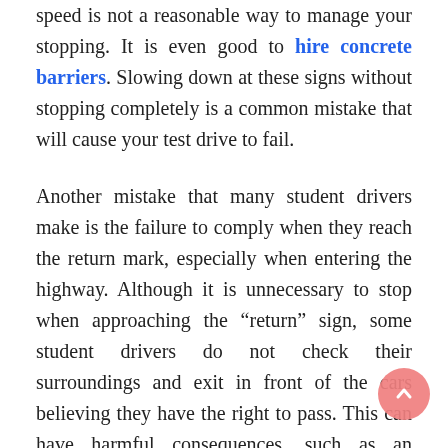speed is not a reasonable way to manage your stopping. It is even good to hire concrete barriers. Slowing down at these signs without stopping completely is a common mistake that will cause your test drive to fail.
Another mistake that many student drivers make is the failure to comply when they reach the return mark, especially when entering the highway. Although it is unnecessary to stop when approaching the “return” sign, some student drivers do not check their surroundings and exit in front of the cars believing they have the right to pass. This can have harmful consequences, such as an accident and failure to obtain your license.
Road and traffic control signals are essential and should be taken seriously even after completing the driving test. They are valuable throughout the entire